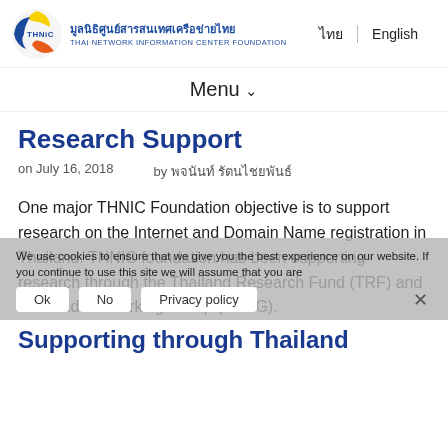THNIC Foundation - Thai Network Information Center Foundation | ไทย | English
Menu ▾
Research Support
on July 16, 2018   by พจนันท์ รัตนไชยพันธ์
One major THNIC Foundation objective is to support research on the Internet and Domain Name registration in Thailand. THNIC foundation has been supporting research through the Thailand Research Fund (TRF) and Thailand Networking Group (THNG).
We use cookies to ensure that we give you the best experience on our website. If you continue to use this site we will assume that you are
Supporting through Thailand